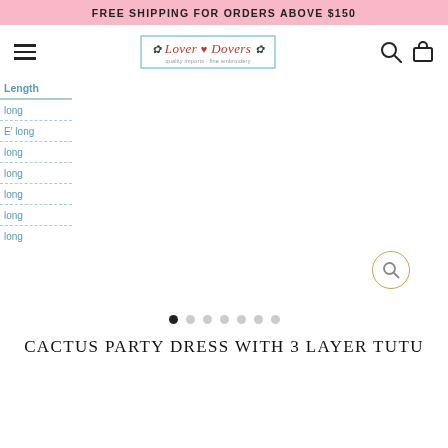FREE SHIPPING FOR ORDERS ABOVE $150
[Figure (logo): Lover Dovers brand logo in a light blue bordered box with italic red script text and decorative stars/hearts]
Length
long
E' long
long
long
long
long
long
[Figure (photo): Product image area for cactus party dress, mostly white/blank with a zoom search icon button in gold circle at bottom right]
CACTUS PARTY DRESS WITH 3 LAYER TUTU